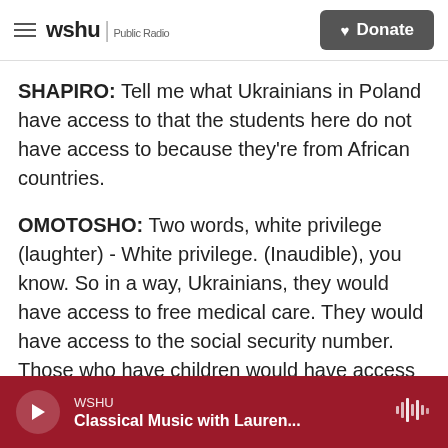wshu | Public Radio  Donate
SHAPIRO: Tell me what Ukrainians in Poland have access to that the students here do not have access to because they're from African countries.
OMOTOSHO: Two words, white privilege (laughter) - White privilege. (Inaudible), you know. So in a way, Ukrainians, they would have access to free medical care. They would have access to the social security number. Those who have children would have access to monthly sort of stipends.
SHAPIRO: I could imagine somebody saying, well, Ukrainians have no country to go back to because...
WSHU  Classical Music with Lauren...